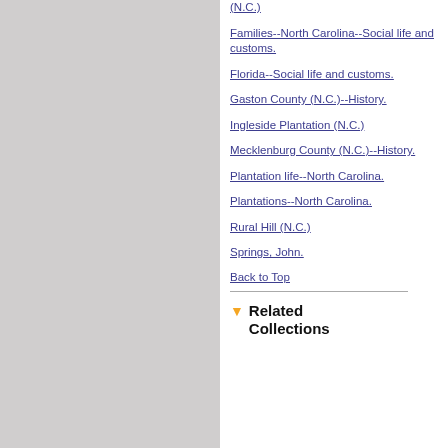(N.C.)
Families--North Carolina--Social life and customs.
Florida--Social life and customs.
Gaston County (N.C.)--History.
Ingleside Plantation (N.C.)
Mecklenburg County (N.C.)--History.
Plantation life--North Carolina.
Plantations--North Carolina.
Rural Hill (N.C.)
Springs, John.
Back to Top
Related Collections